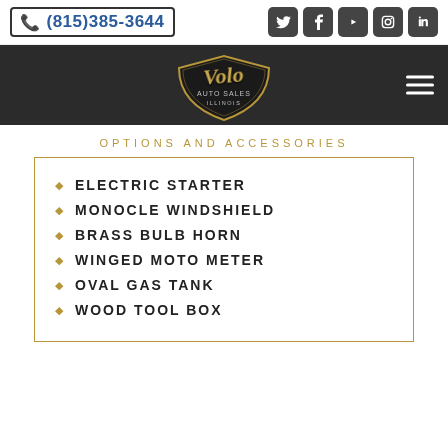(815)385-3644
[Figure (logo): Volo Auto Sales Illinois logo with golden script text on a shield emblem]
OPTIONS AND ACCESSORIES
ELECTRIC STARTER
MONOCLE WINDSHIELD
BRASS BULB HORN
WINGED MOTO METER
OVAL GAS TANK
WOOD TOOL BOX